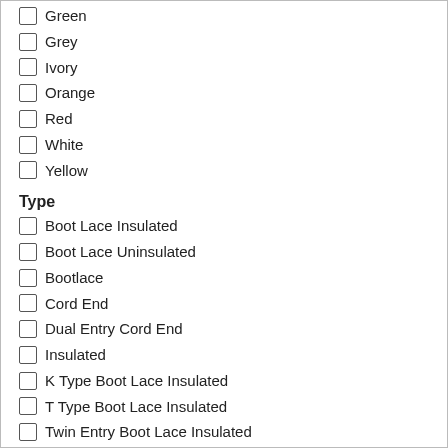Green
Grey
Ivory
Orange
Red
White
Yellow
Type
Boot Lace Insulated
Boot Lace Uninsulated
Bootlace
Cord End
Dual Entry Cord End
Insulated
K Type Boot Lace Insulated
T Type Boot Lace Insulated
Twin Entry Boot Lace Insulated
Length
20 mm
14 mm